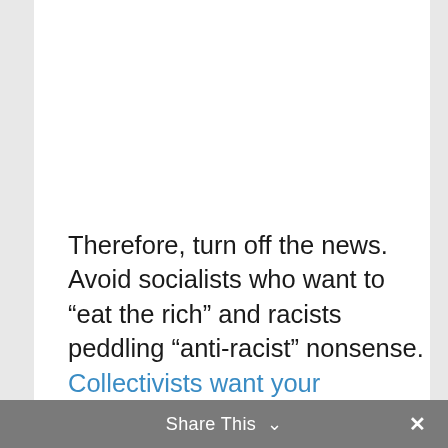Therefore, turn off the news. Avoid socialists who want to “eat the rich” and racists peddling “anti-racist” nonsense. Collectivists want your resources by
We use cookies on our website to give you the most relevant experience by remembering your preferences and repeat visits. By clicking “Accept”, you consent to the use of ALL the cookies.
ACCEPT    Read More
Share This  ∨  ×